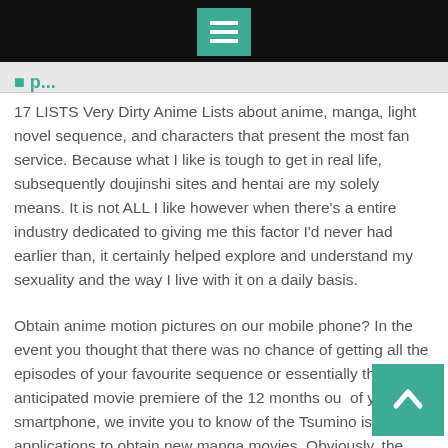17 LISTS Very Dirty Anime Lists about anime, manga, light novel sequence, and characters that present the most fan service. Because what I like is tough to get in real life, subsequently doujinshi sites and hentai are my solely means. It is not ALL I like however when there's a entire industry dedicated to giving me this factor I'd never had earlier than, it certainly helped explore and understand my sexuality and the way I live with it on a daily basis.
Obtain anime motion pictures on our mobile phone? In the event you thought that there was no chance of getting all the episodes of your favourite sequence or essentially the most anticipated movie premiere of the 12 months out of your smartphone, we invite you to know of the Tsumino is a finest applications to obtain new manga movies. Obviously, the speed of